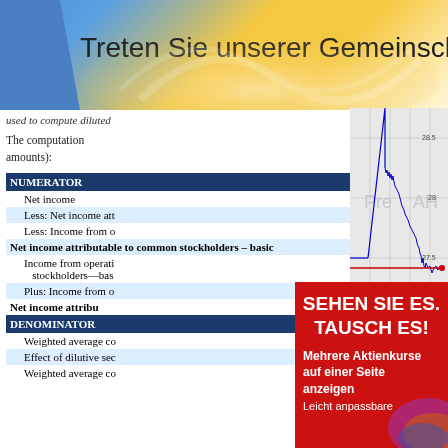Treten Sie unserer Gemeinsch...
used to compute diluted...
The computation amounts):
[Figure (continuous-plot): Stock price chart showing intraday price movement with Pre and AH (after hours) regions. Blue line shows price, red horizontal line at ~27.5. Y-axis shows 27.5, 28, 28.5. X-axis shows 1100, 1400, 1700, 2000, 2300. Source: (c) www.advfn.com]
|  |  |
| --- | --- |
| NUMERATOR |  |
| Net income |  |
| Less: Net income att... |  |
| Less: Income from o... |  |
| Net income attributable to common stockholders – basic |  |
| Income from operating... stockholders—bas... |  |
| Plus: Income from o... |  |
| Net income attribu... |  |
| DENOMINATOR |  |
| Weighted average co... |  |
| Effect of dilutive sec... |  |
| Weighted average co... |  |
[Figure (infographic): Red advertisement banner with text: SEHEN SIE ES. TAUSCH ES! Mehrere Aktienkurse auf einer Seite anzeigen Leicht anpassbare... with decorative swirl image]